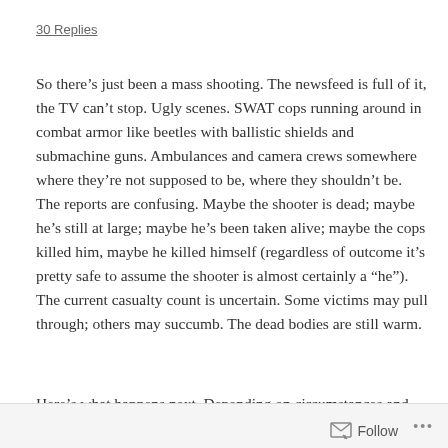30 Replies
So there’s just been a mass shooting. The newsfeed is full of it, the TV can’t stop. Ugly scenes. SWAT cops running around in combat armor like beetles with ballistic shields and submachine guns. Ambulances and camera crews somewhere where they’re not supposed to be, where they shouldn’t be. The reports are confusing. Maybe the shooter is dead; maybe he’s still at large; maybe he’s been taken alive; maybe the cops killed him, maybe he killed himself (regardless of outcome it’s pretty safe to assume the shooter is almost certainly a “he”). The current casualty count is uncertain. Some victims may pull through; others may succumb. The dead bodies are still warm.
Here’s what happens next. Depending on circumstances and